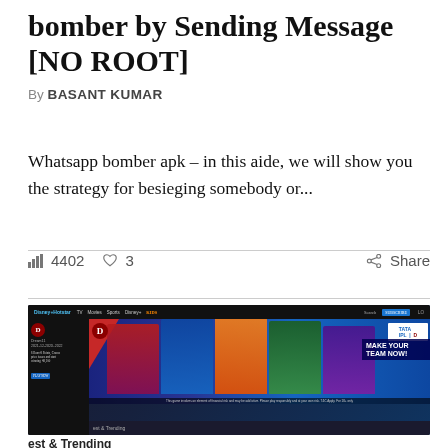bomber by Sending Message [NO ROOT]
By BASANT KUMAR
Whatsapp bomber apk – in this aide, we will show you the strategy for besieging somebody or...
4402  ♡ 3   Share
[Figure (screenshot): Disney+ Hotstar website screenshot showing IPL cricket promotion banner with 'MAKE YOUR TEAM NOW!' text and cricket players]
est & Trending